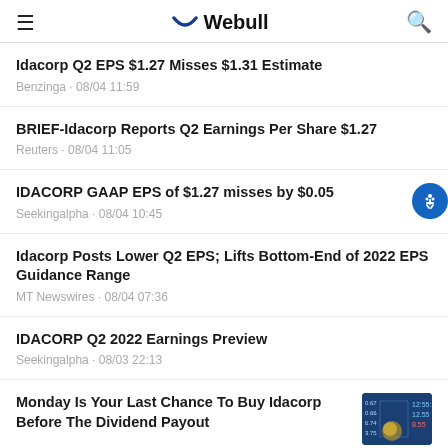Webull
Idacorp Q2 EPS $1.27 Misses $1.31 Estimate
Benzinga · 08/04 11:59
BRIEF-Idacorp Reports Q2 Earnings Per Share $1.27
Reuters · 08/04 11:05
IDACORP GAAP EPS of $1.27 misses by $0.05
Seekingalpha · 08/04 10:45
Idacorp Posts Lower Q2 EPS; Lifts Bottom-End of 2022 EPS Guidance Range
MT Newswires · 08/04 07:36
IDACORP Q2 2022 Earnings Preview
Seekingalpha · 08/03 22:13
Monday Is Your Last Chance To Buy Idacorp Before The Dividend Payout